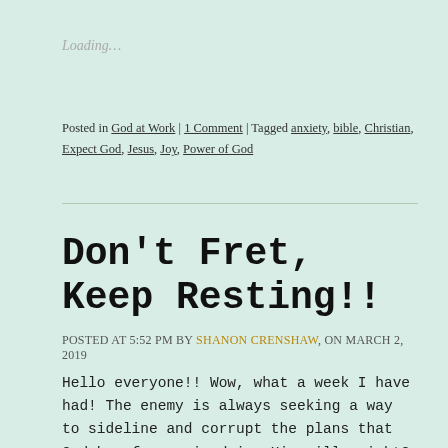Loading…
Posted in God at Work | 1 Comment | Tagged anxiety, bible, Christian, Expect God, Jesus, Joy, Power of God
Don't Fret, Keep Resting!!
Posted at 5:52 PM by Shanon Crenshaw, on March 2, 2019
Hello everyone!! Wow, what a week I have had! The enemy is always seeking a way to sideline and corrupt the plans that God has for us in doing His will, right? None of us are immune to his tactics.